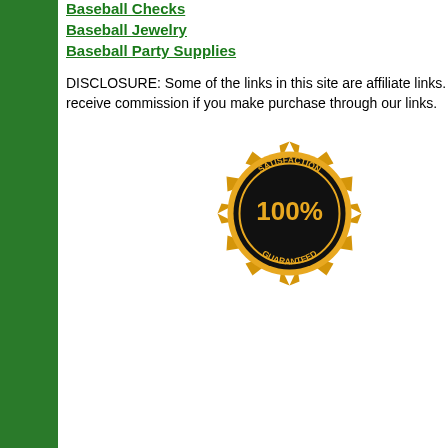Baseball Checks
Baseball Jewelry
Baseball Party Supplies
DISCLOSURE: Some of the links in this site are affiliate links. We will receive commission if you make purchase through our links.
[Figure (illustration): 100% Satisfaction Guaranteed gold seal badge]
Vinyl
New York Rangers: Personalized Name - Officially Licensed NHL Transfer Decal 51.0"W x 38.0"H by Fathead | Vinyl. Win or lose, Rangers fans pack the Garden to cheer on the Broadway Bullies. If you are one of those that bleed blue, why not let everyone know it? With a
M